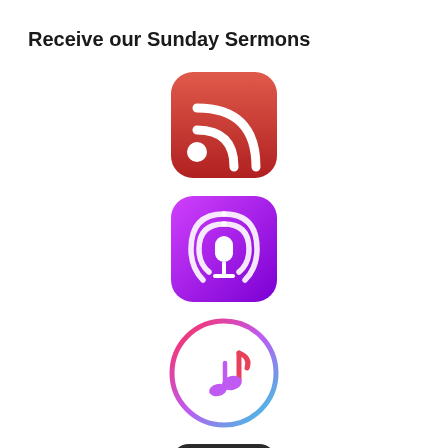Receive our Sunday Sermons
[Figure (logo): RSS feed icon - red rounded square with white wifi/feed signal symbol]
[Figure (logo): Apple Podcasts icon - purple rounded square with white microphone and signal arcs]
[Figure (logo): iTunes/Apple Music icon - circular icon with gradient border and pink music note]
[Figure (logo): Dark rounded square icon with colorful horizontal bars (red, cyan, green) and a vertical slider line]